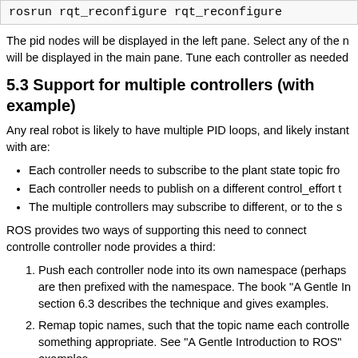rosrun rqt_reconfigure rqt_reconfigure
The pid nodes will be displayed in the left pane. Select any of the n will be displayed in the main pane. Tune each controller as needed
5.3 Support for multiple controllers (with example)
Any real robot is likely to have multiple PID loops, and likely instant with are:
Each controller needs to subscribe to the plant state topic fro
Each controller needs to publish on a different control_effort t
The multiple controllers may subscribe to different, or to the s
ROS provides two ways of supporting this need to connect controlle controller node provides a third:
Push each controller node into its own namespace (perhaps are then prefixed with the namespace. The book "A Gentle In section 6.3 describes the technique and gives examples.
Remap topic names, such that the topic name each controlle something appropriate. See "A Gentle Introduction to ROS" examples.
Tell the PID controller which topics to publish/subscribe to us specific - see the parameters section.
5.3.1 Example